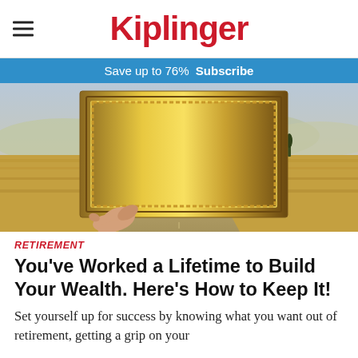Kiplinger
Save up to 76%  Subscribe
[Figure (photo): A hand holds up an ornate gold picture frame against a wide open Tuscan-style landscape with a dirt road leading into rolling hills, dry grass, and cypress trees under a hazy sky.]
RETIREMENT
You've Worked a Lifetime to Build Your Wealth. Here's How to Keep It!
Set yourself up for success by knowing what you want out of retirement, getting a grip on your